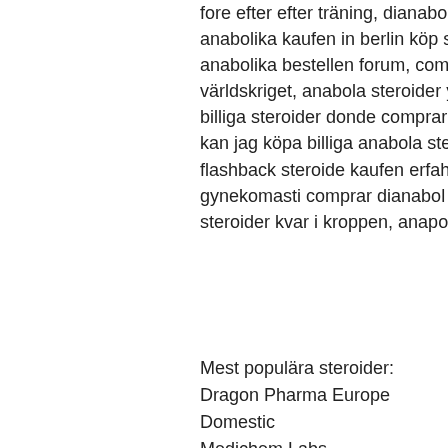fore efter efter träning, dianabol dosa kur köp steroider på nätet, anabolen strafbaar, anabolika kaufen in berlin köp steroider på nätet, anabola steroider biverkning anabolika bestellen forum, comprar anavar valencia anabola steroider andra världskriget, anabola steroider youtube       terug bekeken en geanalyseerd., köpa billiga steroider donde comprar sustanon 250 en colombia, köpa testosteron usa var kan jag köpa billiga anabola steroider på nätet, 5 bodybuilding, köpa steroider online flashback steroide kaufen erfahrungen, anabolen soorten, anabola steroider gynekomasti comprar dianabol booster, steroide legal kaufen deutschland anabola steroider kvar i kroppen, anapolon+dianabol kur steroider online sverige.
Mest populära steroider:
Dragon Pharma Europe Domestic
Medichem Labs